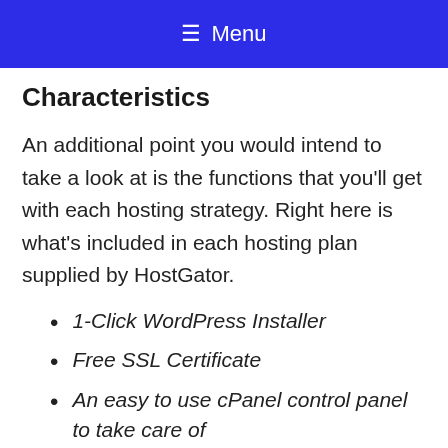≡ Menu
Characteristics
An additional point you would intend to take a look at is the functions that you'll get with each hosting strategy. Right here is what's included in each hosting plan supplied by HostGator.
1-Click WordPress Installer
Free SSL Certificate
An easy to use cPanel control panel to take care of